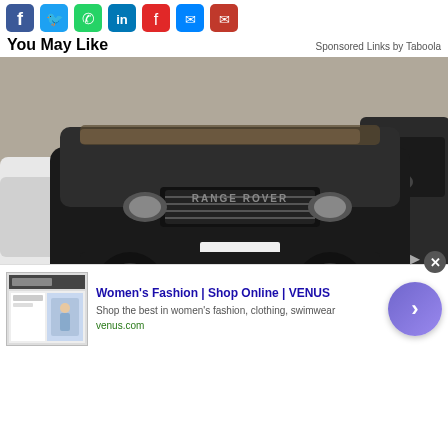[Figure (infographic): Row of social media share icons: Facebook (blue), Twitter (blue bird), WhatsApp (green), LinkedIn (blue), Flipboard (red), Messenger (blue gradient), Email (red)]
You May Like
Sponsored Links by Taboola
[Figure (photo): Dusty black Range Rover Evoque parked between a white car and a dark van, covered in dust and debris on hood]
Unsold Never-Driven SUVs Now Almost Being Given Away: See Prices
[Figure (infographic): Advertisement for Women's Fashion | Shop Online | VENUS. Shows thumbnail of VENUS website with a woman in swimwear. Text: Shop the best in women's fashion, clothing, swimwear. venus.com. Purple circular CTA button with right arrow. Close (X) button top right.]